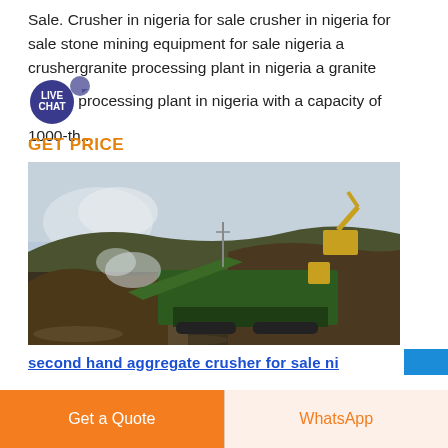Sale. Crusher in nigeria for sale crusher in nigeria for sale stone mining equipment for sale nigeria a crushergranite processing plant in nigeria a granite processing plant in nigeria with a capacity of 1000-th...
GET PRICE
[Figure (photo): A green mobile aggregate crushing machine operating outdoors on a rocky/gravel site with a mound of crushed stone and an excavator in the background.]
second hand aggregate crusher for sale ni
Get a Quote
WhatsApp